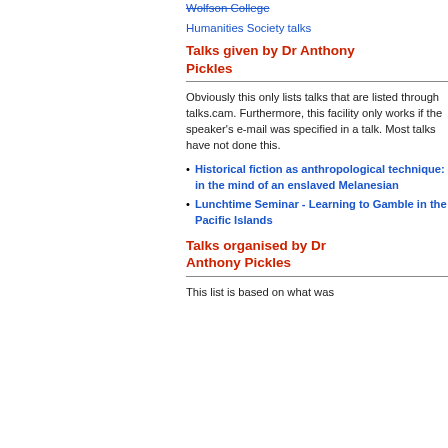Wolfson College Humanities Society talks
Talks given by Dr Anthony Pickles
Obviously this only lists talks that are listed through talks.cam. Furthermore, this facility only works if the speaker's e-mail was specified in a talk. Most talks have not done this.
Historical fiction as anthropological technique: in the mind of an enslaved Melanesian
Lunchtime Seminar - Learning to Gamble in the Pacific Islands
Talks organised by Dr Anthony Pickles
This list is based on what was